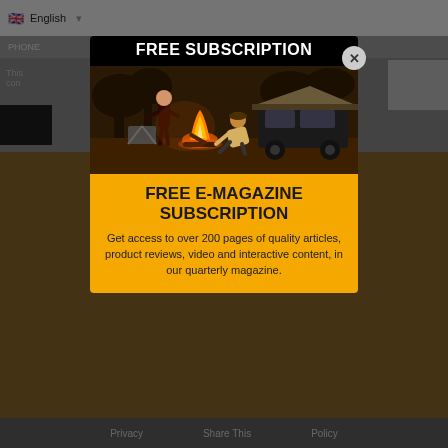[Figure (screenshot): Background of a webpage showing English language selector, form fields (PHONE, EMAIL, WEBSITE), partial text content, and dark/orange bars — dimmed behind a modal overlay.]
[Figure (photo): Modal popup with orange background. Top section has black banner reading FREE SUBSCRIPTION in white bold text. Below is a photo of two people camping at night with a campfire, a rooftop tent, and a 4WD vehicle in a bush setting.]
FREE E-MAGAZINE SUBSCRIPTION
Get access to over 200 pages of quality articles, product reviews, video and interactive content, in our quarterly magazine.